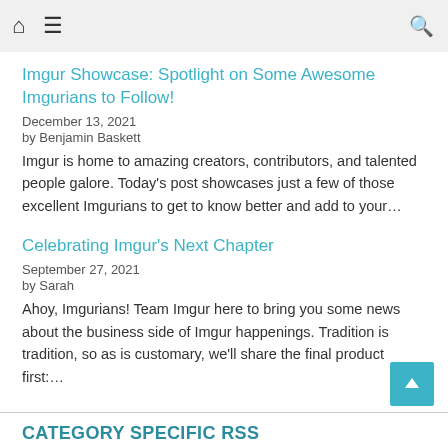Home | Menu | Search
Imgur Showcase: Spotlight on Some Awesome Imgurians to Follow!
December 13, 2021
by Benjamin Baskett
Imgur is home to amazing creators, contributors, and talented people galore. Today's post showcases just a few of those excellent Imgurians to get to know better and add to your…
Celebrating Imgur's Next Chapter
September 27, 2021
by Sarah
Ahoy, Imgurians! Team Imgur here to bring you some news about the business side of Imgur happenings. Tradition is tradition, so as is customary, we'll share the final product first:…
CATEGORY SPECIFIC RSS